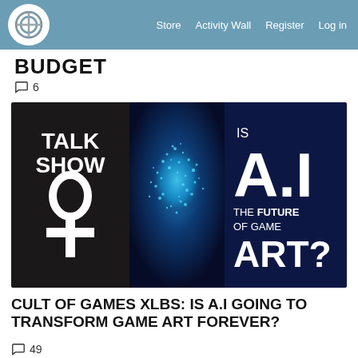Store  Activity Wall  Register  Log in
BUDGET
6
[Figure (illustration): Talk Show banner image. Left panel: dark background with 'TALK SHOW' text and ankh symbol in white. Center: glowing blue AI human head silhouette made of light particles. Right panel: dark navy background with text 'IS A.I THE FUTURE OF GAME ART?']
CULT OF GAMES XLBS: IS A.I GOING TO TRANSFORM GAME ART FOREVER?
49